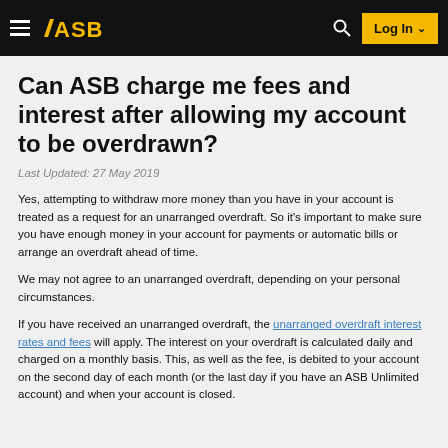ASB — Log In
Can ASB charge me fees and interest after allowing my account to be overdrawn?
Last Updated: 27 May 2019
Yes, attempting to withdraw more money than you have in your account is treated as a request for an unarranged overdraft. So it's important to make sure you have enough money in your account for payments or automatic bills or arrange an overdraft ahead of time.
We may not agree to an unarranged overdraft, depending on your personal circumstances.
If you have received an unarranged overdraft, the unarranged overdraft interest rates and fees will apply. The interest on your overdraft is calculated daily and charged on a monthly basis. This, as well as the fee, is debited to your account on the second day of each month (or the last day if you have an ASB Unlimited account) and when your account is closed.